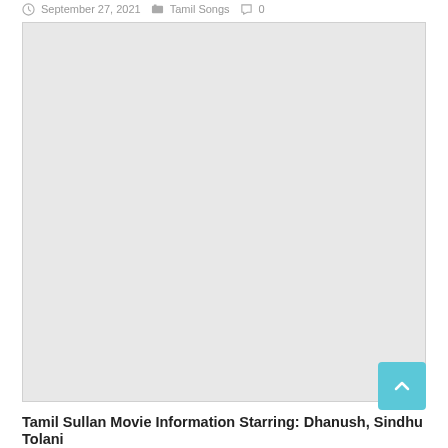September 27, 2021   Tamil Songs   0
[Figure (photo): Large light gray placeholder image box for Tamil Sullan Movie]
Tamil Sullan Movie Information Starring: Dhanush, Sindhu Tolani